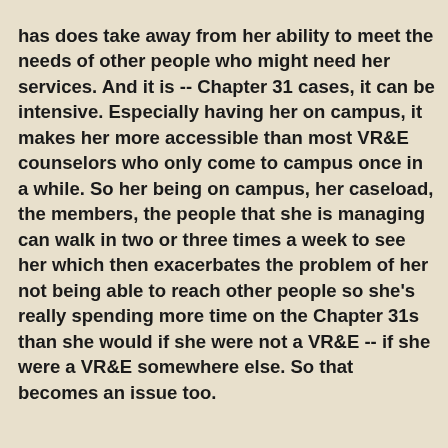has does take away from her ability to meet the needs of other people who might need her services.  And it is -- Chapter 31 cases, it can be intensive.  Especially having her on campus, it makes her more accessible than most VR&E counselors who only come to campus once in a while.  So her being on campus, her caseload, the members, the people that she is managing can walk in two or three times a week to see her which then exacerbates the problem of her not being able to reach other people so she's really spending more time on the Chapter 31s than she would if she were not a VR&E -- if she were a VR&E somewhere else.  So that becomes an issue too.
From reality to the absurd . . .
CIA contractor Juan Cole has the nerve, the temerity to